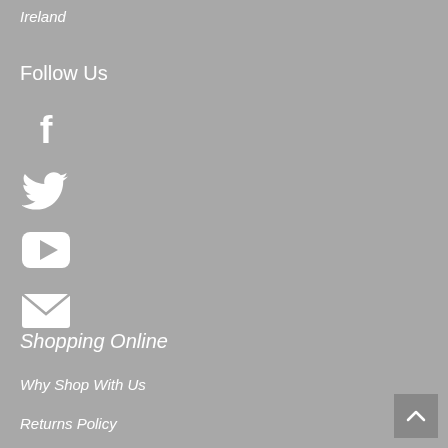Ireland
Follow Us
[Figure (illustration): Social media icons: Facebook, Twitter, YouTube, Email (envelope)]
Shopping Online
Why Shop With Us
Returns Policy